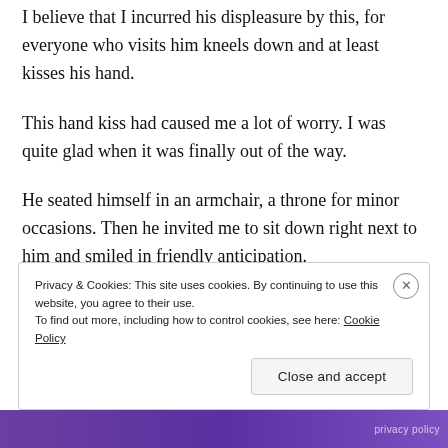I believe that I incurred his displeasure by this, for everyone who visits him kneels down and at least kisses his hand.
This hand kiss had caused me a lot of worry. I was quite glad when it was finally out of the way.
He seated himself in an armchair, a throne for minor occasions. Then he invited me to sit down right next to him and smiled in friendly anticipation.
Privacy & Cookies: This site uses cookies. By continuing to use this website, you agree to their use.
To find out more, including how to control cookies, see here: Cookie Policy
Close and accept